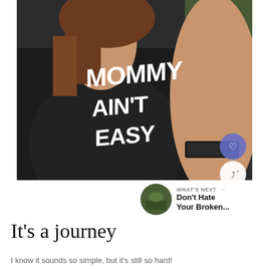[Figure (photo): A person wearing a black t-shirt that reads 'MOMMY AIN'T EASY' taking a selfie, with a fitbit/fitness tracker visible on their wrist]
WHAT'S NEXT → Don't Hate Your Broken...
It's a journey
I know it sounds so simple, but it's still so hard!